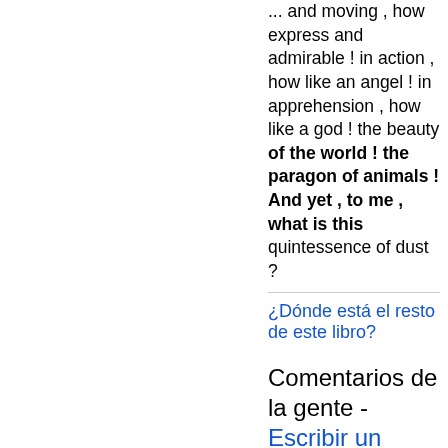... and moving , how express and admirable ! in action , how like an angel ! in apprehension , how like a god ! the beauty of the world ! the paragon of animals ! And yet , to me , what is this quintessence of dust ?
¿Dónde está el resto de este libro?
Comentarios de la gente - Escribir un comentario
Las opiniones no están verificadas, pero Google revisa que no haya contenido falso y lo quita